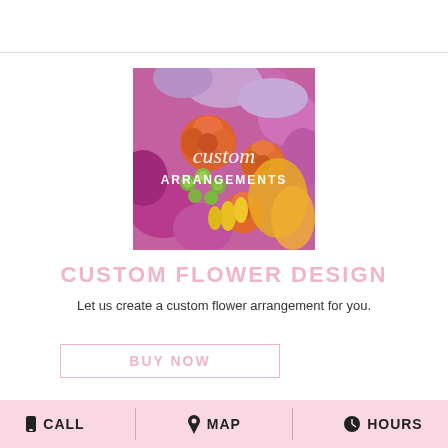[Figure (photo): Custom flower arrangements photo showing colorful flowers including orange roses, purple/magenta carnations, green berries, and yellow wrapping, with text overlay 'custom ARRANGEMENTS']
CUSTOM FLOWER DESIGN
Let us create a custom flower arrangement for you.
BUY NOW
CALL   MAP   HOURS